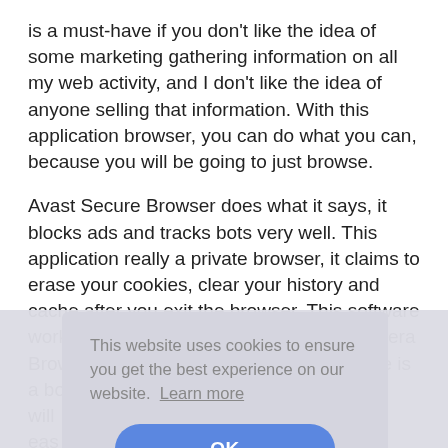is a must-have if you don't like the idea of some marketing gathering information on all my web activity, and I don't like the idea of anyone selling that information. With this application browser, you can do what you can, because you will be going to just browse.
Avast Secure Browser does what it says, it blocks ads and tracks bots very well. This application really a private browser, it claims to erase your cookies, clear your history and cache after you exit the browser. This software works like Brave Browser, UC Browser, Opera Browser, and other secure browsers. There is a boo... will... eas...
This... gra... recommend this browser for someone who is looking for
[Figure (screenshot): Cookie consent popup overlay reading: 'This website uses cookies to ensure you get the best experience on our website. Learn more' with an OK button.]